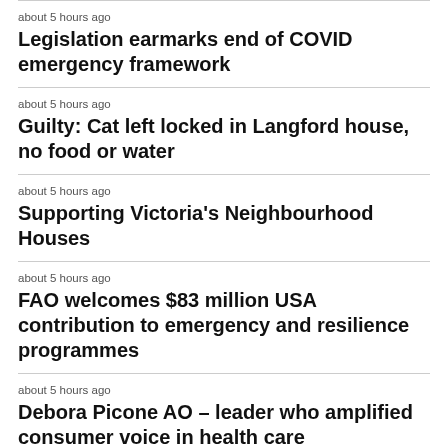about 5 hours ago
Legislation earmarks end of COVID emergency framework
about 5 hours ago
Guilty: Cat left locked in Langford house, no food or water
about 5 hours ago
Supporting Victoria's Neighbourhood Houses
about 5 hours ago
FAO welcomes $83 million USA contribution to emergency and resilience programmes
about 5 hours ago
Debora Picone AO – leader who amplified consumer voice in health care